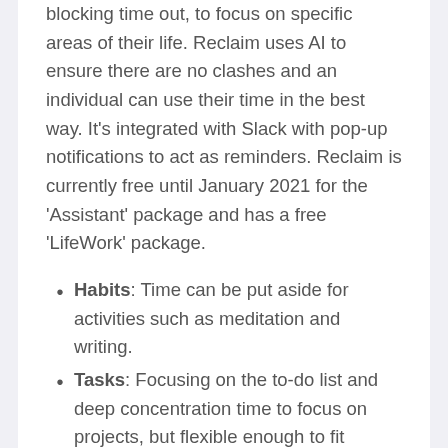blocking time out, to focus on specific areas of their life. Reclaim uses AI to ensure there are no clashes and an individual can use their time in the best way. It's integrated with Slack with pop-up notifications to act as reminders. Reclaim is currently free until January 2021 for the 'Assistant' package and has a free 'LifeWork' package.
Habits: Time can be put aside for activities such as meditation and writing.
Tasks: Focusing on the to-do list and deep concentration time to focus on projects, but flexible enough to fit